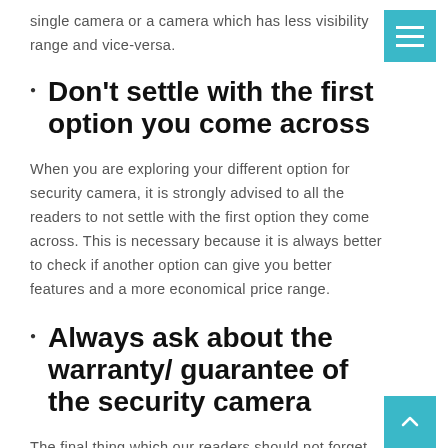single camera or a camera which has less visibility range and vice-versa.
Don’t settle with the first option you come across
When you are exploring your different option for security camera, it is strongly advised to all the readers to not settle with the first option they come across. This is necessary because it is always better to check if another option can give you better features and a more economical price range.
Always ask about the warranty/ guarantee of the security camera
The final thing which our readers should not forget while buying a security camera is that is the warranty guarantee...